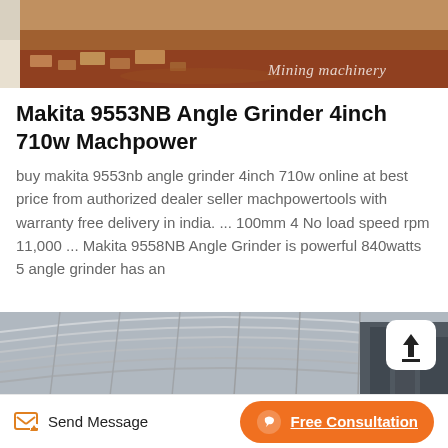[Figure (photo): Outdoor photo of red/brown earthen ground with bricks and rubble, with watermark text 'Mining machinery' in italic font at bottom right]
Makita 9553NB Angle Grinder 4inch 710w Machpower
buy makita 9553nb angle grinder 4inch 710w online at best price from authorized dealer seller machpowertools with warranty free delivery in india. ... 100mm 4 No load speed rpm 11,000 ... Makita 9558NB Angle Grinder is powerful 840watts 5 angle grinder has an
[Figure (photo): Interior photo of a large industrial warehouse or factory building showing curved metal roof structure with steel beams and purlins, with an upload/share button icon in the top right corner]
Send Message   Free Consultation